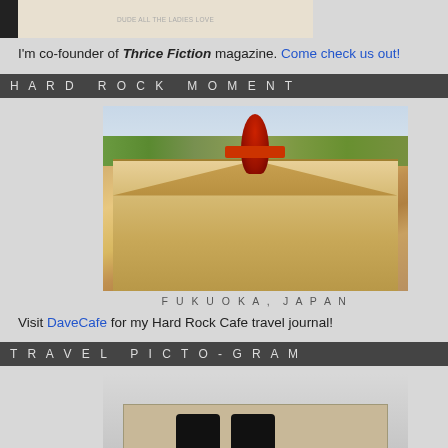[Figure (photo): Partial image at top of left sidebar]
I'm co-founder of Thrice Fiction magazine. Come check us out!
HARD ROCK MOMENT
[Figure (photo): Hard Rock Cafe building in Fukuoka, Japan with guitar logo on roof]
FUKUOKA, JAPAN
Visit DaveCafe for my Hard Rock Cafe travel journal!
TRAVEL PICTO-GRAM
[Figure (photo): Two Royal Guards in red uniforms and black bearskin hats marching in London, England]
LONDON, ENGLAND
Visit my travel map to see where I have been in this world!
BADGEMANIA
[Figure (logo): Blogography.com! badge logo]
[Figure (logo): Green icon and orange RSS feed icon with ENTRIES FEED text]
industry. But she shows no rem... her reprehensible faux fur wea... you... faux bitch!!"
And how can I not?
So today. Right here. Right now...